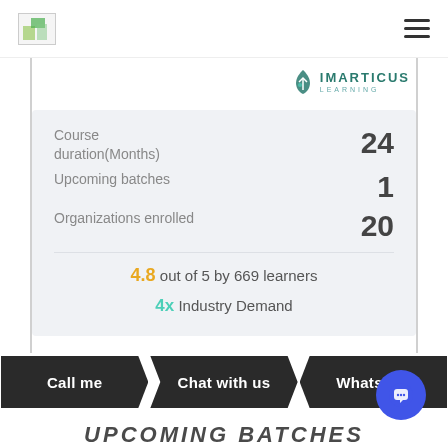[Figure (logo): Imarticus Learning logo with teal plant icon]
|  |  |
| --- | --- |
| Course duration(Months) | 24 |
| Upcoming batches | 1 |
| Organizations enrolled | 20 |
4.8 out of 5 by 669 learners
4x Industry Demand
Call me
Chat with us
Whatsapp
UPCOMING BATCHES